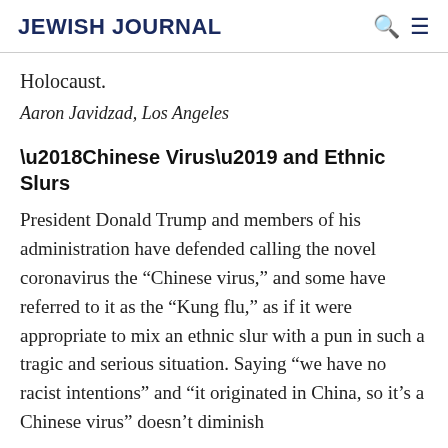JEWISH JOURNAL
Holocaust.
Aaron Javidzad, Los Angeles
‘Chinese Virus’ and Ethnic Slurs
President Donald Trump and members of his administration have defended calling the novel coronavirus the “Chinese virus,” and some have referred to it as the “Kung flu,” as if it were appropriate to mix an ethnic slur with a pun in such a tragic and serious situation. Saying “we have no racist intentions” and “it originated in China, so it’s a Chinese virus” doesn’t diminish